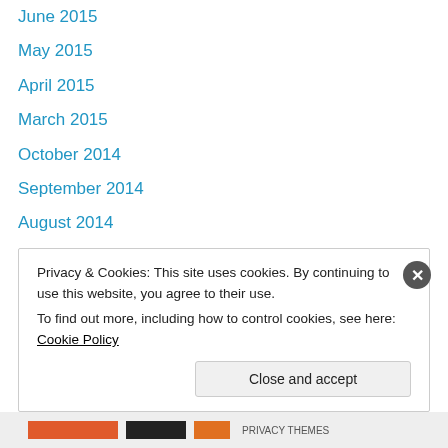June 2015
May 2015
April 2015
March 2015
October 2014
September 2014
August 2014
July 2014
June 2014
May 2014
April 2014
March 2014
February 2014
Privacy & Cookies: This site uses cookies. By continuing to use this website, you agree to their use.
To find out more, including how to control cookies, see here: Cookie Policy
Close and accept